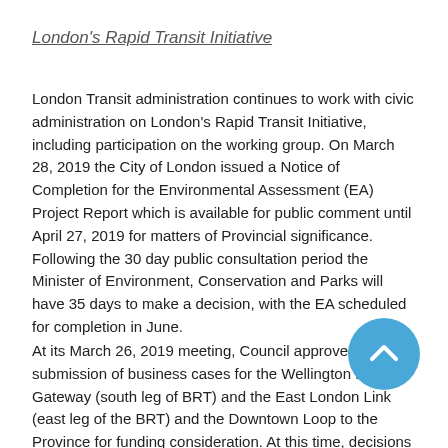London's Rapid Transit Initiative
London Transit administration continues to work with civic administration on London's Rapid Transit Initiative, including participation on the working group. On March 28, 2019 the City of London issued a Notice of Completion for the Environmental Assessment (EA) Project Report which is available for public comment until April 27, 2019 for matters of Provincial significance. Following the 30 day public consultation period the Minister of Environment, Conservation and Parks will have 35 days to make a decision, with the EA scheduled for completion in June.
At its March 26, 2019 meeting, Council approved the submission of business cases for the Wellington Road Gateway (south leg of BRT) and the East London Link (east leg of the BRT) and the Downtown Loop to the Province for funding consideration. At this time, decisions with respect to
[Figure (other): Blue circular scroll-to-top button with white chevron/arrow icon]